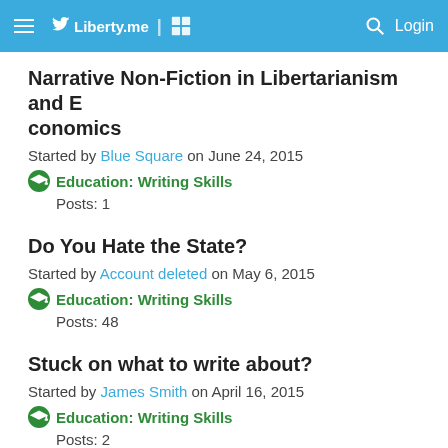Liberty.me | Login
Narrative Non-Fiction in Libertarianism and Economics
Started by Blue Square on June 24, 2015
Education: Writing Skills
Posts: 1
Do You Hate the State?
Started by Account deleted on May 6, 2015
Education: Writing Skills
Posts: 48
Stuck on what to write about?
Started by James Smith on April 16, 2015
Education: Writing Skills
Posts: 2
Where do you go to find good images for you